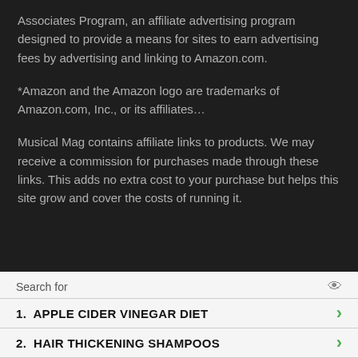Associates Program, an affiliate advertising program designed to provide a means for sites to earn advertising fees by advertising and linking to Amazon.com.
*Amazon and the Amazon logo are trademarks of Amazon.com, Inc., or its affiliates…
Musical Mag contains affiliate links to products. We may receive a commission for purchases made through these links. This adds no extra cost to your purchase but helps this site grow and cover the costs of running it.
Search for
1.  APPLE CIDER VINEGAR DIET
2.  HAIR THICKENING SHAMPOOS
Ad | Business Focus